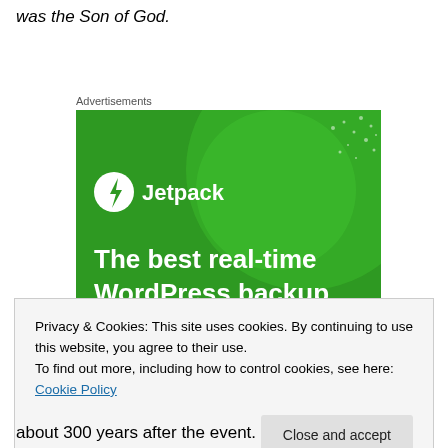was the Son of God.
Advertisements
[Figure (screenshot): Jetpack advertisement banner with green background showing 'The best real-time WordPress backup plugin' text and Jetpack logo with lightning bolt icon]
Privacy & Cookies: This site uses cookies. By continuing to use this website, you agree to their use.
To find out more, including how to control cookies, see here: Cookie Policy
[Close and accept button]
about 300 years after the event.